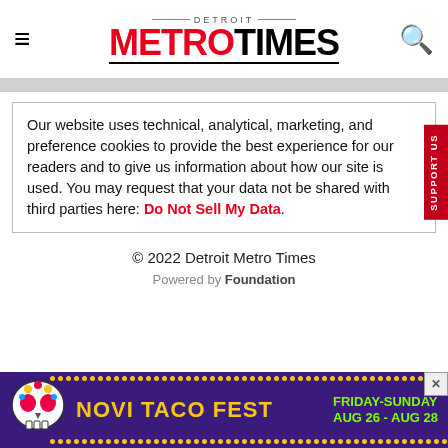Detroit Metro Times
Our website uses technical, analytical, marketing, and preference cookies to provide the best experience for our readers and to give us information about how our site is used. You may request that your data not be shared with third parties here: Do Not Sell My Data.
© 2022 Detroit Metro Times
Powered by Foundation
[Figure (photo): Novi Taco Fest advertisement banner — purple background with yellow dotted border, skull graphic, yellow 'NOVI TACO FEST' text, and green 'FRIDAY-SUNDAY AUG 26 - AUG 28' text]